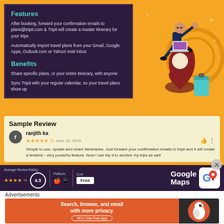Features
After booking, forward your confirmation emails to plans@tripit.com & Tripit will create a master itinerary for your trips
Automatically import travel plans from your Gmail, Google Apps, Outlook.com or Yahoo! mail inbox
Benefits
Share specific plans, or your entire itinerary, with anyone
Sync Tripit with your regular calendar, so your travel plans show up
[Figure (illustration): Illustration of a person sitting on a map pin with a suitcase]
Sample Review
ranjith ka
★★★★½ June 10, 2018
Simple to use, update and share iteneraries. Just forward your confirmation emails to tripit and it will create a timeline - very powerful feature. Now I use trip it to archive my trips as well
Average Review Rating ★★★★½ 4.3 | Platform 🍎 📱 | Cost Free | Google Maps
Advertisements
[Figure (infographic): DuckDuckGo ad banner: Search, browse, and email with more privacy. All in One Free App]